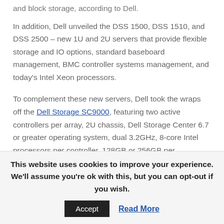and block storage, according to Dell.
In addition, Dell unveiled the DSS 1500, DSS 1510, and DSS 2500 – new 1U and 2U servers that provide flexible storage and IO options, standard baseboard management, BMC controller systems management, and today's Intel Xeon processors.
To complement these new servers, Dell took the wraps off the Dell Storage SC9000, featuring two active controllers per array, 2U chassis, Dell Storage Center 6.7 or greater operating system, dual 3.2GHz, 8-core Intel processors per controller, 128GB or 256GB per
This website uses cookies to improve your experience. We'll assume you're ok with this, but you can opt-out if you wish.